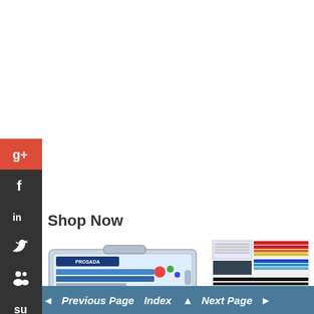[Figure (infographic): Social media share buttons sidebar: Google+, Facebook, LinkedIn, Twitter, Google Friends, StumbleUpon icons stacked vertically on left edge]
Shop Now
[Figure (photo): Electronics component kit in a plastic case (left product image)]
[Figure (photo): Electronics components array - resistors, capacitors, LEDs laid out in rows (right product image)]
◄ Previous Page   Index ▲   Next Page ►